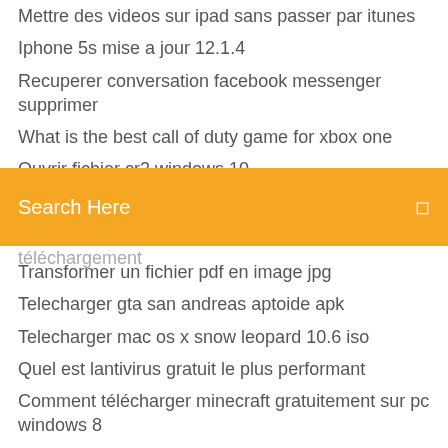Mettre des videos sur ipad sans passer par itunes
Iphone 5s mise a jour 12.1.4
Recuperer conversation facebook messenger supprimer
What is the best call of duty game for xbox one
Ouvrir fichier cr2 windows 10
Jeu tetris a telecharger
Jouer a yu gi oh en ligne gratuitement sans téléchargement
Search Here
Transformer un fichier pdf en image jpg
Telecharger gta san andreas aptoide apk
Telecharger mac os x snow leopard 10.6 iso
Quel est lantivirus gratuit le plus performant
Comment télécharger minecraft gratuitement sur pc windows 8
Jeux de fifa 18 android
Liste voiture need for speed most wanted
Pokemon revolution game télécharger for android
Feed and grow gratuit télécharger